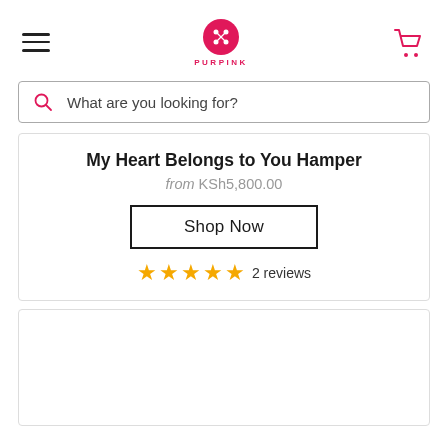PURPINK
What are you looking for?
My Heart Belongs to You Hamper
from KSh5,800.00
Shop Now
★★★★★ 2 reviews